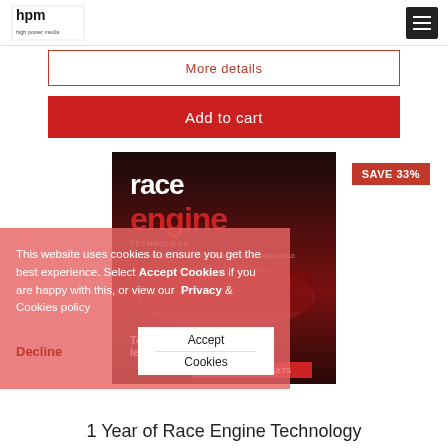hpm high power media | menu
More details
Add to cart
SAVE 33%
[Figure (illustration): Race Engine Technology magazine cover showing a racing car with text 'race engine', 'Top Fuel bho revealed', 'EXCLUSIVE TEST RESULTS']
This website uses cookies to ensure you get the best experience. Select Accept Cookies if you are happy with this, or view our Privacy & Cookies policy
Decline
Accept
Cookies
1 Year of Race Engine Technology